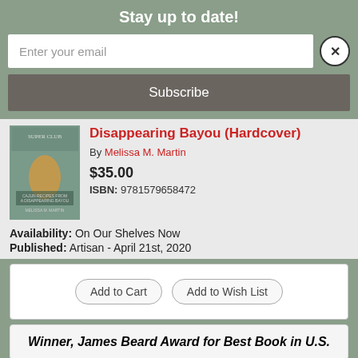Stay up to date!
Enter your email
Subscribe
Disappearing Bayou (Hardcover)
By Melissa M. Martin
$35.00
ISBN: 9781579658472
Availability: On Our Shelves Now
Published: Artisan - April 21st, 2020
Add to Cart
Add to Wish List
Winner, James Beard Award for Best Book in U.S.